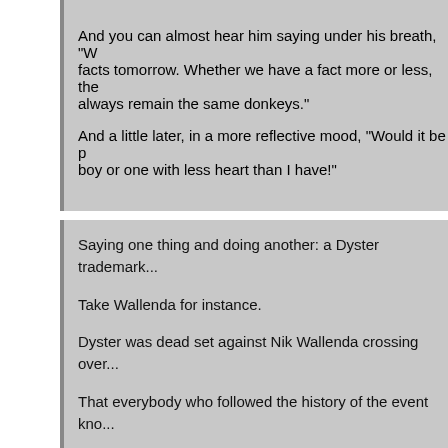And you can almost hear him saying under his breath, "W... facts tomorrow. Whether we have a fact more or less, the... always remain the same donkeys."

And a little later, in a more reflective mood, "Would it be p... boy or one with less heart than I have!"
Saying one thing and doing another: a Dyster trademark...

Take Wallenda for instance.

Dyster was dead set against Nik Wallenda crossing over...

That everybody who followed the history of the event kno...

Dyster gave every conceivable reason except the real on... George Maziarz made the Wallenda deal.

Dyster said the Wallenda walk will make the Falls look lik... 7/5/2011); there will be bad "repercussions" (CKTB News... "copycats" (LA Times 6/23/2011); and that the event show...